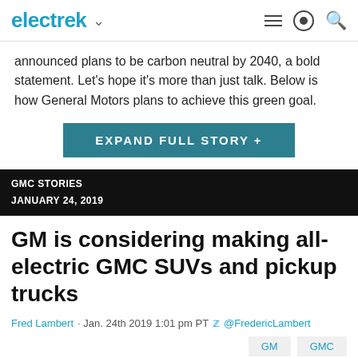electrek
announced plans to be carbon neutral by 2040, a bold statement. Let's hope it's more than just talk. Below is how General Motors plans to achieve this green goal.
EXPAND FULL STORY +
GMC STORIES
JANUARY 24, 2019
GM is considering making all-electric GMC SUVs and pickup trucks
Fred Lambert · Jan. 24th 2019 1:01 pm PT @FredericLambert
GM   GMC
[Figure (photo): Landscape photo showing mountains and desert terrain with vehicle silhouette, used as article header image]